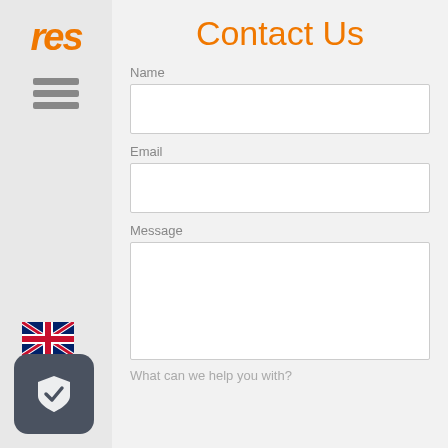[Figure (logo): RES logo in orange italic bold font]
[Figure (illustration): Hamburger menu icon with three horizontal grey bars]
Contact Us
Name
Email
Message
[Figure (illustration): UK flag icon]
[Figure (illustration): Shield with checkmark icon on dark rounded square button]
What can we help you with?